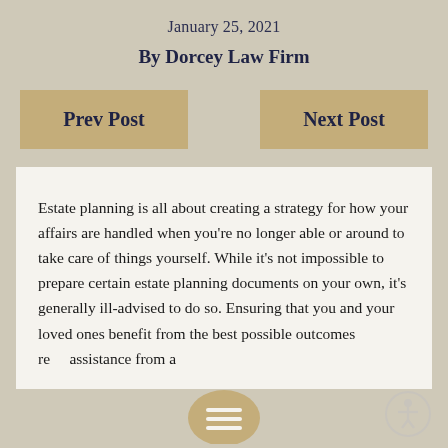January 25, 2021
By Dorcey Law Firm
Prev Post
Next Post
Estate planning is all about creating a strategy for how your affairs are handled when you're no longer able or around to take care of things yourself. While it's not impossible to prepare certain estate planning documents on your own, it's generally ill-advised to do so. Ensuring that you and your loved ones benefit from the best possible outcomes re assistance from a